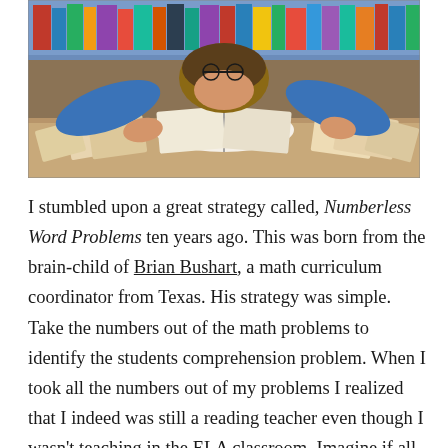[Figure (photo): A person in a blue sweater leaning over a table covered with many open books in a library setting, appearing to study intensively.]
I stumbled upon a great strategy called, Numberless Word Problems ten years ago. This was born from the brain-child of Brian Bushart, a math curriculum coordinator from Texas. His strategy was simple. Take the numbers out of the math problems to identify the students comprehension problem. When I took all the numbers out of my problems I realized that I indeed was still a reading teacher even though I wasn't teaching in the ELA classroom. Imagine if all math